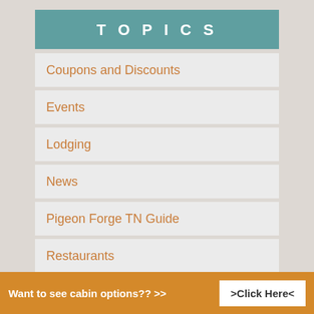TOPICS
Coupons and Discounts
Events
Lodging
News
Pigeon Forge TN Guide
Restaurants
Shopping
Things to Do
Want to see cabin options?? >>   >Click Here<